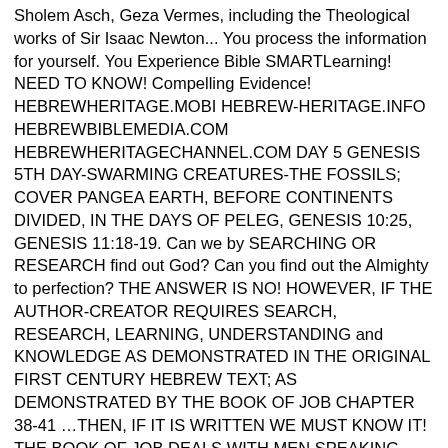Sholem Asch, Geza Vermes, including the Theological works of Sir Isaac Newton... You process the information for yourself. You Experience Bible SMARTLearning! NEED TO KNOW! Compelling Evidence! HEBREWHERITAGE.MOBI HEBREW-HERITAGE.INFO HEBREWBIBLEMEDIA.COM HEBREWHERITAGECHANNEL.COM DAY 5 GENESIS 5TH DAY-SWARMING CREATURES-THE FOSSILS; COVER PANGEA EARTH, BEFORE CONTINENTS DIVIDED, IN THE DAYS OF PELEG, GENESIS 10:25, GENESIS 11:18-19. Can we by SEARCHING OR RESEARCH find out God? Can you find out the Almighty to perfection? THE ANSWER IS NO! HOWEVER, IF THE AUTHOR-CREATOR REQUIRES SEARCH, RESEARCH, LEARNING, UNDERSTANDING and KNOWLEDGE AS DEMONSTRATED IN THE ORIGINAL FIRST CENTURY HEBREW TEXT; AS DEMONSTRATED BY THE BOOK OF JOB CHAPTER 38-41 …THEN, IF IT IS WRITTEN WE MUST KNOW IT! THE BOOK OF JOB DEALS WITH MEN SPEAKING ABOUT GOD, THEN GOD SPEAKS FOR HIMSELF. JOB 38 IS GODLY HISTORIOGRAPHY …historiographic literature spoken by God Himself; IT IS EXACTLY WHAT THE CREATOR REQUIRES MAN TO KNOW. The poem of the Book of Job is the second time the Creator reveals, in open narrative, exactly what he expects of